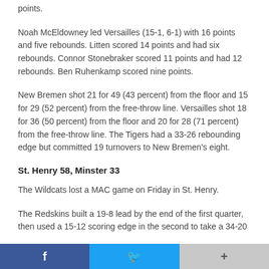points.
Noah McEldowney led Versailles (15-1, 6-1) with 16 points and five rebounds. Litten scored 14 points and had six rebounds. Connor Stonebraker scored 11 points and had 12 rebounds. Ben Ruhenkamp scored nine points.
New Bremen shot 21 for 49 (43 percent) from the floor and 15 for 29 (52 percent) from the free-throw line. Versailles shot 18 for 36 (50 percent) from the floor and 20 for 28 (71 percent) from the free-throw line. The Tigers had a 33-26 rebounding edge but committed 19 turnovers to New Bremen's eight.
St. Henry 58, Minster 33
The Wildcats lost a MAC game on Friday in St. Henry.
The Redskins built a 19-8 lead by the end of the first quarter, then used a 15-12 scoring edge in the second to take a 34-20